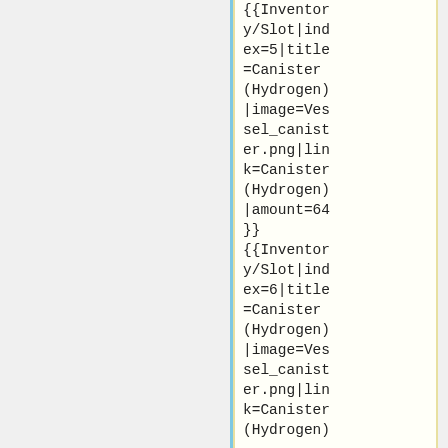{{Inventory/Slot|index=5|title=Canister(Hydrogen)|image=Vessel_canister.png|link=Canister(Hydrogen)|amount=64}}
{{Inventory/Slot|index=6|title=Canister(Hydrogen)|image=Vessel_canister.png|link=Canister(Hydrogen)